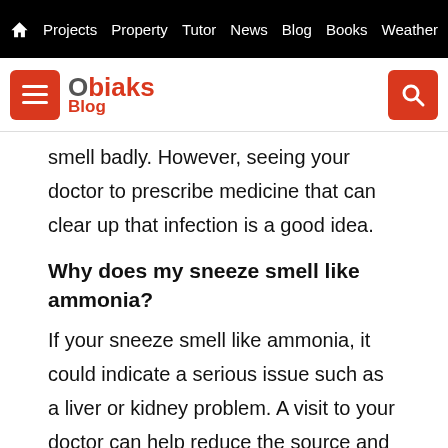Projects  Property  Tutor  News  Blog  Books  Weather
Obiaks Blog
smell badly. However, seeing your doctor to prescribe medicine that can clear up that infection is a good idea.
Why does my sneeze smell like ammonia?
If your sneeze smell like ammonia, it could indicate a serious issue such as a liver or kidney problem. A visit to your doctor can help reduce the source and help you get a better treatment.